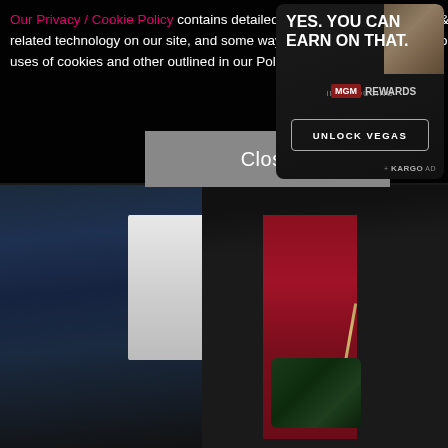[Figure (photo): Photo of two people at an event: a man on the left wearing a dark navy suit with a white shirt, and a woman on the right wearing a black blazer over a red/burgundy pleated dress, holding a dark green studded chain bag]
[Figure (photo): Advertisement banner in top right corner: dark background with text 'YES. YOU CAN EARN ON THAT.' and 'INTRODUCING MGM REWARDS' and an 'UNLOCK VEGAS' button, branded with KARGO AD]
Our Privacy / Cookie Policy contains detailed information about cookies & related technology on our site, and some ways to opt out. By using the site, you agree to the uses of cookies and other technology as outlined in our Policy, and to our Terms of Use
Close